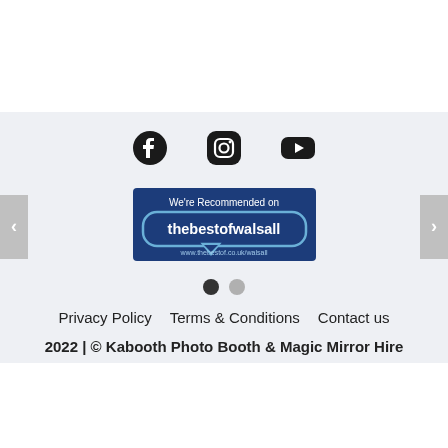[Figure (logo): Social media icons: Facebook, Instagram, YouTube]
[Figure (logo): We're Recommended on thebestofwalsall badge, www.thebestof.co.uk/walsall]
Privacy Policy   Terms & Conditions   Contact us
2022 | © Kabooth Photo Booth & Magic Mirror Hire